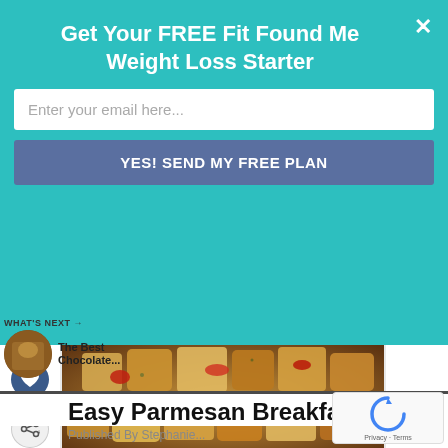Get Your FREE Fit Found Me Weight Loss Starter
Enter your email here...
YES! SEND MY FREE PLAN
[Figure (photo): Close-up photo of roasted diced breakfast potatoes with red peppers and herbs in a skillet]
WHAT'S NEXT →
The Best Chocolate...
Easy Parmesan Breakfast Potato
Published By Stephanie...